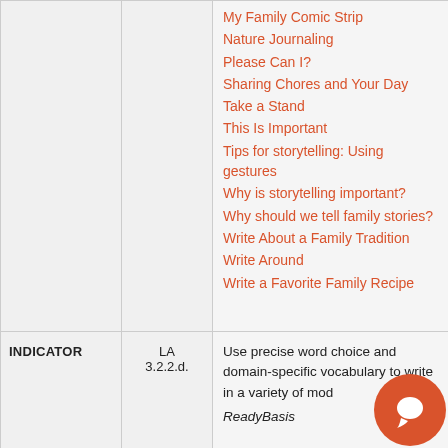|  |  |  |
| --- | --- | --- |
|  |  | My Family Comic Strip
Nature Journaling
Please Can I?
Sharing Chores and Your Day
Take a Stand
This Is Important
Tips for storytelling: Using gestures
Why is storytelling important?
Why should we tell family stories?
Write About a Family Tradition
Write Around
Write a Favorite Family Recipe |
| INDICATOR | LA 3.2.2.d. | Use precise word choice and domain-specific vocabulary to write in a variety of mod…

ReadyBasis |